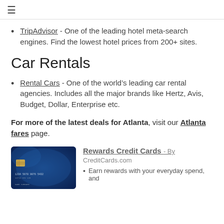≡
TripAdvisor - One of the leading hotel meta-search engines. Find the lowest hotel prices from 200+ sites.
Car Rentals
Rental Cars - One of the world's leading car rental agencies. Includes all the major brands like Hertz, Avis, Budget, Dollar, Enterprise etc.
For more of the latest deals for Atlanta, visit our Atlanta fares page.
[Figure (photo): Blue rewards credit card with chip and card number 1234 5678 9876 5432]
Rewards Credit Cards - By CreditCards.com
Earn rewards with your everyday spend, and